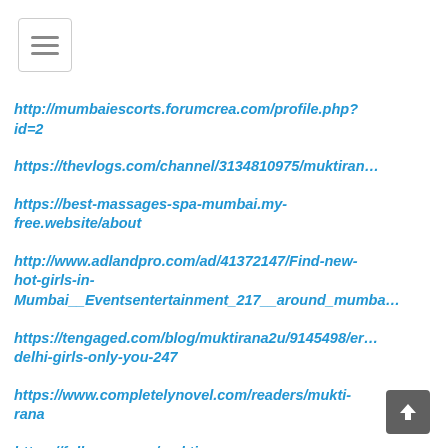http://mumbaiescorts.forumcrea.com/profile.php?id=2
https://thevlogs.com/channel/3134810975/muktiran…
https://best-massages-spa-mumbai.my-free.website/about
http://www.adlandpro.com/ad/41372147/Find-new-hot-girls-in-Mumbai__Eventsentertainment_217__around_mumba…
https://tengaged.com/blog/muktirana2u/9145498/er…delhi-girls-only-you-247
https://www.completelynovel.com/readers/mukti-rana
https://followus.com/muktirana
https://www.huntingnet.com/forum/members/muk…